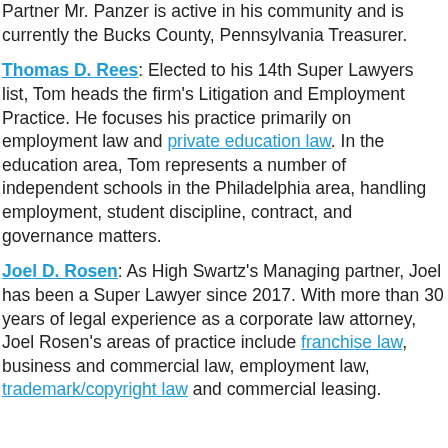Partner Mr. Panzer is active in his community and is currently the Bucks County, Pennsylvania Treasurer.
Thomas D. Rees: Elected to his 14th Super Lawyers list, Tom heads the firm's Litigation and Employment Practice. He focuses his practice primarily on employment law and private education law. In the education area, Tom represents a number of independent schools in the Philadelphia area, handling employment, student discipline, contract, and governance matters.
Joel D. Rosen: As High Swartz's Managing partner, Joel has been a Super Lawyer since 2017. With more than 30 years of legal experience as a corporate law attorney, Joel Rosen's areas of practice include franchise law, business and commercial law, employment law, trademark/copyright law and commercial leasing.